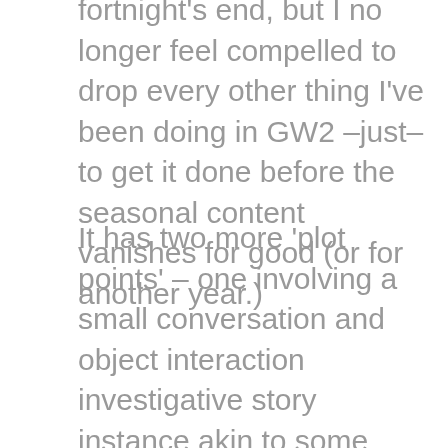fortnight's end, but I no longer feel compelled to drop every other thing I've been doing in GW2 –just– to get it done before the seasonal content vanishes for good (or for another year.)
It has two more 'plot points' – one involving a small conversation and object interaction investigative story instance akin to some Living Story 1 scenes in the Dead End Bar, where one pokes around items left behind by Scarlet and draws some conclusions from them. These bits feel like candy bars for lore fans, especially those of an exploratory nature. I count